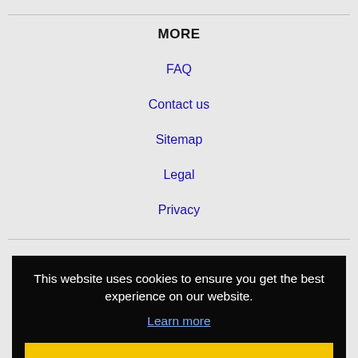MORE
FAQ
Contact us
Sitemap
Legal
Privacy
This website uses cookies to ensure you get the best experience on our website.
Learn more
Got it!
Johns Creek, GA Jobs